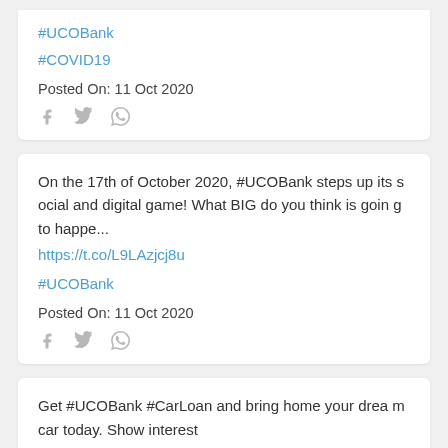#UCOBank
#COVID19
Posted On: 11 Oct 2020
On the 17th of October 2020, #UCOBank steps up its social and digital game! What BIG do you think is going to happe...
https://t.co/L9LAzjcj8u
#UCOBank
Posted On: 11 Oct 2020
Get #UCOBank #CarLoan and bring home your dream car today. Show interest